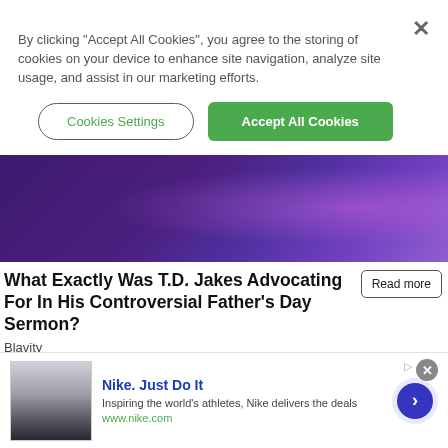By clicking “Accept All Cookies”, you agree to the storing of cookies on your device to enhance site navigation, analyze site usage, and assist in our marketing efforts.
Cookies Settings
Accept All Cookies
[Figure (photo): Person in plaid blazer with orange pocket square, hands clasped, against purple/blue background]
What Exactly Was T.D. Jakes Advocating For In His Controversial Father’s Day Sermon?
Blavity
Read more
[Figure (photo): Person with dark hair in red clothing being embraced from behind]
Nike. Just Do It
Inspiring the world’s athletes, Nike delivers the deals
www.nike.com